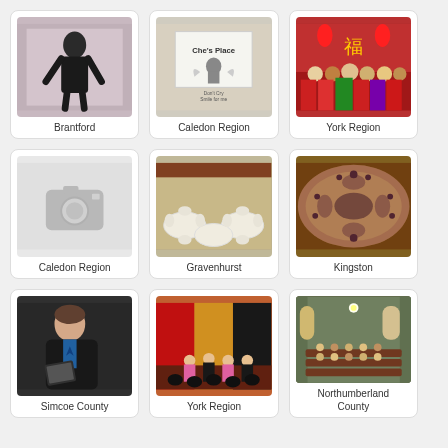[Figure (photo): Person in black dress - Brantford]
Brantford
[Figure (photo): Che's Place sign with cartoon character - Caledon Region]
Caledon Region
[Figure (photo): Group photo with people in formal wear, red decorations - York Region]
York Region
[Figure (photo): Placeholder camera icon - Caledon Region]
Caledon Region
[Figure (photo): Banquet hall with white tables and chairs - Gravenhurst]
Gravenhurst
[Figure (photo): Circular fisheye view of event hall - Kingston]
Kingston
[Figure (photo): Man in black jacket reading a book - Simcoe County]
Simcoe County
[Figure (photo): Stage performance with red and black curtains - York Region]
York Region
[Figure (photo): Church interior with congregation - Northumberland County]
Northumberland County